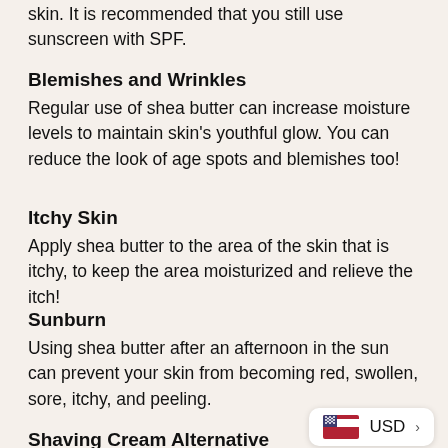skin. It is recommended that you still use sunscreen with SPF.
Blemishes and Wrinkles
Regular use of shea butter can increase moisture levels to maintain skin's youthful glow. You can reduce the look of age spots and blemishes too!
Itchy Skin
Apply shea butter to the area of the skin that is itchy, to keep the area moisturized and relieve the itch!
Sunburn
Using shea butter after an afternoon in the sun can prevent your skin from becoming red, swollen, sore, itchy, and peeling.
Shaving Cream Alternative
With a little bit of water, use shea butter to burn and keep your skin soft post-shave.